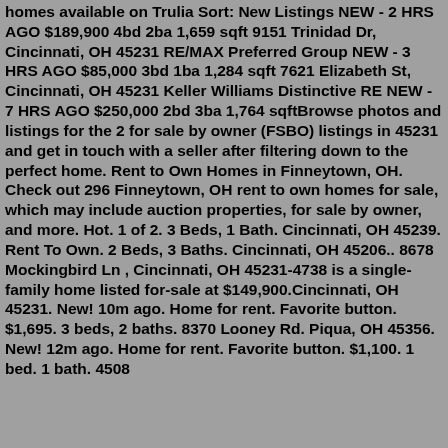homes available on Trulia Sort: New Listings NEW - 2 HRS AGO $189,900 4bd 2ba 1,659 sqft 9151 Trinidad Dr, Cincinnati, OH 45231 RE/MAX Preferred Group NEW - 3 HRS AGO $85,000 3bd 1ba 1,284 sqft 7621 Elizabeth St, Cincinnati, OH 45231 Keller Williams Distinctive RE NEW - 7 HRS AGO $250,000 2bd 3ba 1,764 sqftBrowse photos and listings for the 2 for sale by owner (FSBO) listings in 45231 and get in touch with a seller after filtering down to the perfect home. Rent to Own Homes in Finneytown, OH. Check out 296 Finneytown, OH rent to own homes for sale, which may include auction properties, for sale by owner, and more. Hot. 1 of 2. 3 Beds, 1 Bath. Cincinnati, OH 45239. Rent To Own. 2 Beds, 3 Baths. Cincinnati, OH 45206.. 8678 Mockingbird Ln , Cincinnati, OH 45231-4738 is a single-family home listed for-sale at $149,900.Cincinnati, OH 45231. New! 10m ago. Home for rent. Favorite button. $1,695. 3 beds, 2 baths. 8370 Looney Rd. Piqua, OH 45356. New! 12m ago. Home for rent. Favorite button. $1,100. 1 bed. 1 bath. 4508